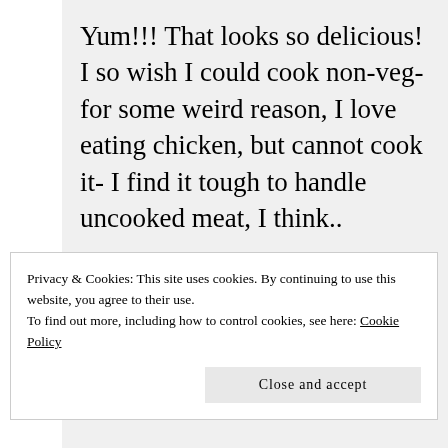Yum!!! That looks so delicious! I so wish I could cook non-veg- for some weird reason, I love eating chicken, but cannot cook it- I find it tough to handle uncooked meat, I think..
But this looks abs yum!
Privacy & Cookies: This site uses cookies. By continuing to use this website, you agree to their use.
To find out more, including how to control cookies, see here: Cookie Policy
Close and accept